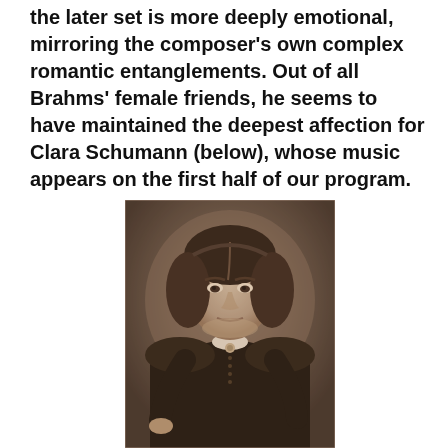the later set is more deeply emotional, mirroring the composer's own complex romantic entanglements. Out of all Brahms' female friends, he seems to have maintained the deepest affection for Clara Schumann (below), whose music appears on the first half of our program.
[Figure (photo): A sepia-toned historical photograph of Clara Schumann, a middle-aged woman in Victorian dress, wearing a dark high-collared dress with buttons, her hair parted in the middle with curls at the sides, looking directly at the camera with a serious expression.]